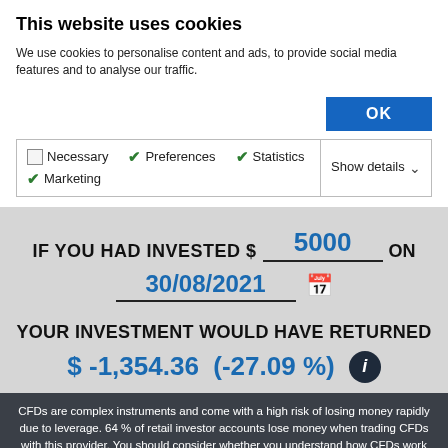This website uses cookies
We use cookies to personalise content and ads, to provide social media features and to analyse our traffic.
OK
Necessary  Preferences  Statistics  Marketing  Show details
IF YOU HAD INVESTED $ 5000 ON 30/08/2021
YOUR INVESTMENT WOULD HAVE RETURNED
$ -1,354.36  (-27.09 %)
CFDs are complex instruments and come with a high risk of losing money rapidly due to leverage. 64 % of retail investor accounts lose money when trading CFDs with this provider. You should consider whether you understand how CFDs work and whether you can afford to take the high risk of losing your money.